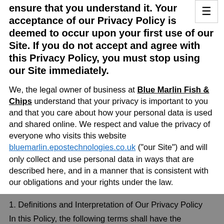ensure that you understand it. Your acceptance of our Privacy Policy is deemed to occur upon your first use of our Site. If you do not accept and agree with this Privacy Policy, you must stop using our Site immediately.
We, the legal owner of business at Blue Marlin Fish & Chips understand that your privacy is important to you and that you care about how your personal data is used and shared online. We respect and value the privacy of everyone who visits this website bluemarlin.epostechnologies.co.uk ("our Site") and will only collect and use personal data in ways that are described here, and in a manner that is consistent with our obligations and your rights under the law.
1. Definitions and Interpretation of Our Privacy Policy
In this Policy, the following terms shall have the following meanings:
"Cookie" means a small text file placed on your
We use cookies to improve your browsing experience. By continuing, you agree to the use of cookies.